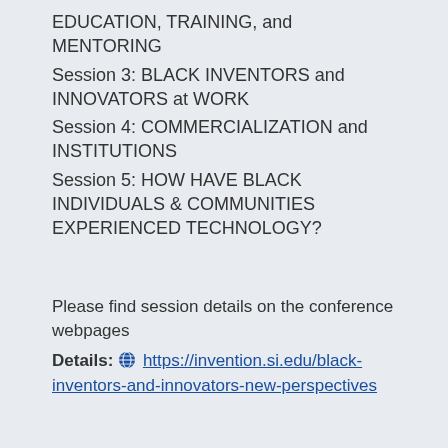EDUCATION, TRAINING, and MENTORING
Session 3: BLACK INVENTORS and INNOVATORS at WORK
Session 4: COMMERCIALIZATION and INSTITUTIONS
Session 5: HOW HAVE BLACK INDIVIDUALS & COMMUNITIES EXPERIENCED TECHNOLOGY?
Please find session details on the conference webpages
Details: 🌐 https://invention.si.edu/black-inventors-and-innovators-new-perspectives
Accessibility: The National Museum of American History welcomes visitors of all ages and abilities. Real-time captioning (CART) will be provided for our online program. For other questions about accessibility, please